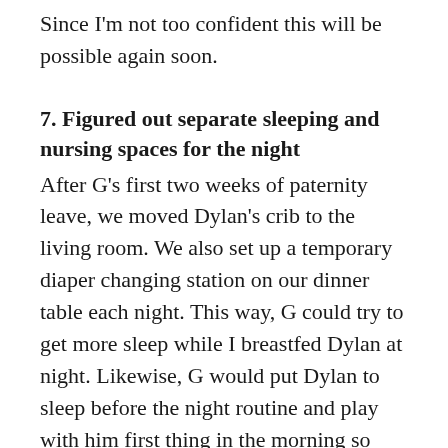Since I'm not too confident this will be possible again soon.
7. Figured out separate sleeping and nursing spaces for the night
After G's first two weeks of paternity leave, we moved Dylan's crib to the living room. We also set up a temporary diaper changing station on our dinner table each night. This way, G could try to get more sleep while I breastfed Dylan at night. Likewise, G would put Dylan to sleep before the night routine and play with him first thing in the morning so that I could catch up on my sleep. We made this